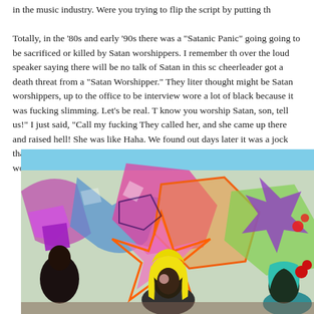in the music industry. Were you trying to flip the script by putting th... Totally, in the ‘80s and early ’90s there was a “Satanic Panic” going... going to be sacrificed or killed by Satan worshippers. I remember th... over the loud speaker saying there will be no talk of Satan in this sc... cheerleader got a death threat from a “Satan Worshipper.” They liter... thought might be Satan worshippers, up to the office to be interview... wore a lot of black because it was fucking slimming. Let’s be real. T... know you worship Satan, son, tell us!” I just said, “Call my fucking... They called her, and she came up there and raised hell! She was like... Haha. We found out days later it was a jock that sent the death threa... didn’t put out. I am serious. There were no Satan worshippers. I lov...
[Figure (photo): Photo of people standing in front of a colorful graffiti wall. One person has bright yellow hair, another wears teal/turquoise clothing. The graffiti background is vibrant with pink, purple, blue, and green colors with large stylized lettering.]